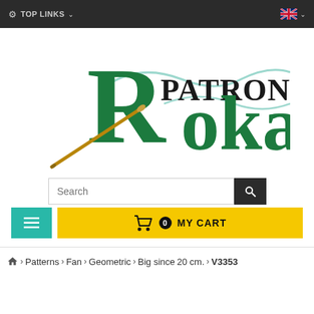TOP LINKS
[Figure (logo): Patrons Roka brand logo with large green decorative R and stylized text 'PATRONS Roka' with an antique pointer/telescope graphic]
Search
0 MY CART
Home > Patterns > Fan > Geometric > Big since 20 cm. > V3353